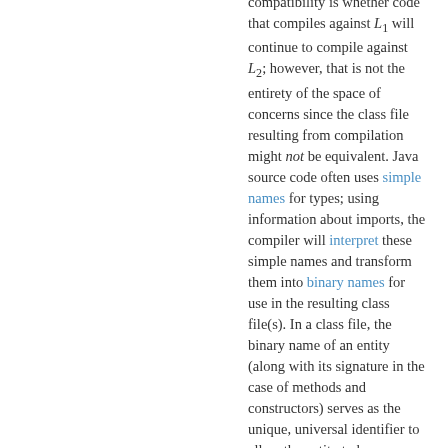compatibility is whether code that compiles against L1 will continue to compile against L2; however, that is not the entirety of the space of concerns since the class file resulting from compilation might not be equivalent. Java source code often uses simple names for types; using information about imports, the compiler will interpret these simple names and transform them into binary names for use in the resulting class file(s). In a class file, the binary name of an entity (along with its signature in the case of methods and constructors) serves as the unique, universal identifier to allow the entity to be referenced